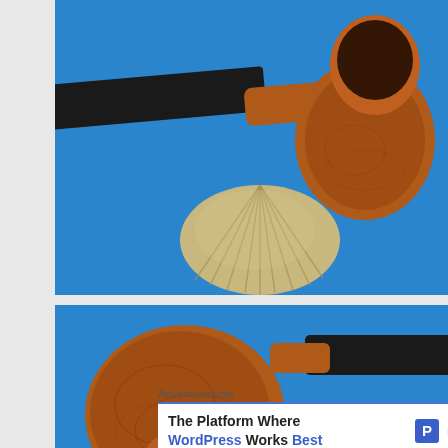[Figure (photo): Top-down view of a brown briar tobacco pipe with a black stem, resting on a blue background next to a ridged clam shell.]
[Figure (photo): Close-up side view of a brown briar tobacco pipe bowl with a black stem, on a blue background with a partial clam shell visible. An X/close button overlay appears in the bottom-right corner.]
Advertisements
The Platform Where WordPress Works Best
[Figure (logo): Pressable logo: blue square with letter P and the word Pressable in bold.]